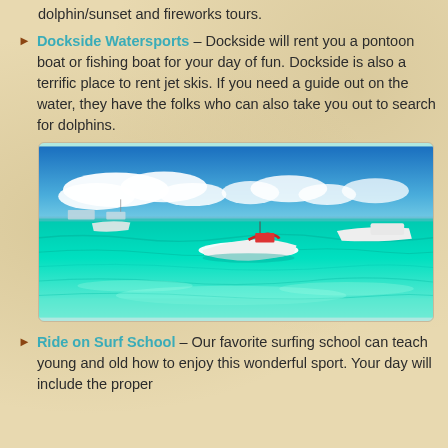dolphin/sunset and fireworks tours.
Dockside Watersports – Dockside will rent you a pontoon boat or fishing boat for your day of fun. Dockside is also a terrific place to rent jet skis. If you need a guide out on the water, they have the folks who can also take you out to search for dolphins.
[Figure (photo): Turquoise tropical waters with white motorboats floating near the shore under a blue sky with white clouds.]
Ride on Surf School – Our favorite surfing school can teach young and old how to enjoy this wonderful sport. Your day will include the proper...